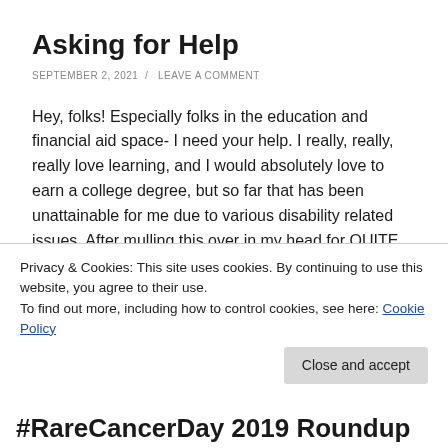Asking for Help
SEPTEMBER 2, 2021 / LEAVE A COMMENT
Hey, folks! Especially folks in the education and financial aid space- I need your help. I really, really, really love learning, and I would absolutely love to earn a college degree, but so far that has been unattainable for me due to various disability related issues. After mulling this over in my head for QUITE… Continue reading
Privacy & Cookies: This site uses cookies. By continuing to use this website, you agree to their use.
To find out more, including how to control cookies, see here: Cookie Policy
Close and accept
#RareCancerDay 2019 Roundup